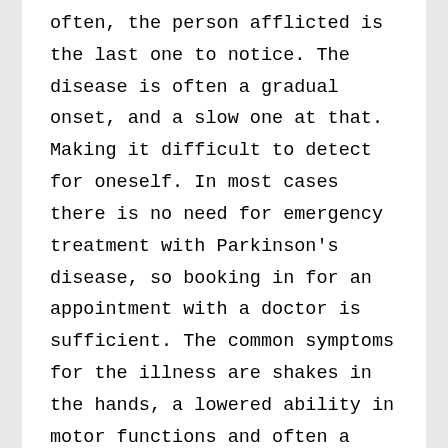often, the person afflicted is the last one to notice. The disease is often a gradual onset, and a slow one at that. Making it difficult to detect for oneself. In most cases there is no need for emergency treatment with Parkinson's disease, so booking in for an appointment with a doctor is sufficient. The common symptoms for the illness are shakes in the hands, a lowered ability in motor functions and often a change in the fine motoric of the person. If the person you know have changed tone in voice, or their style in handwriting, often to smaller writing, it's a tell tale sign of the disease.